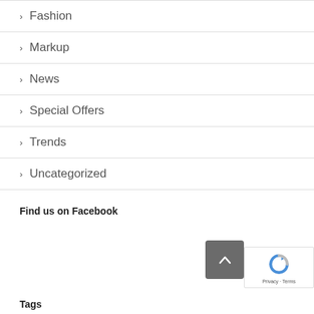Fashion
Markup
News
Special Offers
Trends
Uncategorized
Find us on Facebook
Tags